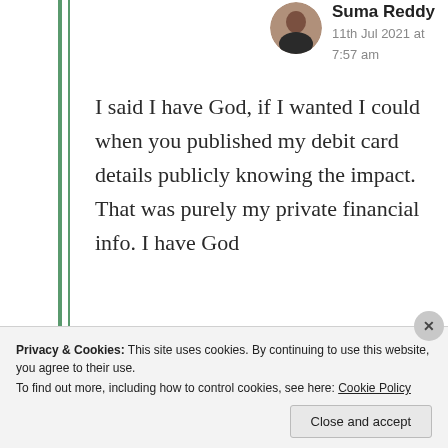Suma Reddy
11th Jul 2021 at 7:57 am
I said I have God, if I wanted I could when you published my debit card details publicly knowing the impact. That was purely my private financial info. I have God
Privacy & Cookies: This site uses cookies. By continuing to use this website, you agree to their use.
To find out more, including how to control cookies, see here: Cookie Policy
Close and accept